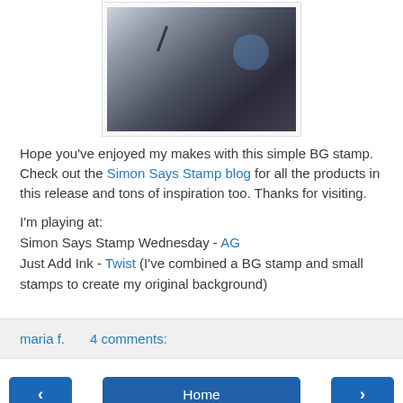[Figure (photo): Cropped photo of a dark navy/black card with white and blue decorative stamped design elements, shown at an angle]
Hope you've enjoyed my makes with this simple BG stamp. Check out the Simon Says Stamp blog for all the products in this release and tons of inspiration too. Thanks for visiting.
I'm playing at:
Simon Says Stamp Wednesday - AG
Just Add Ink - Twist (I've combined a BG stamp and small stamps to create my original background)
maria f.    4 comments:
< Home >